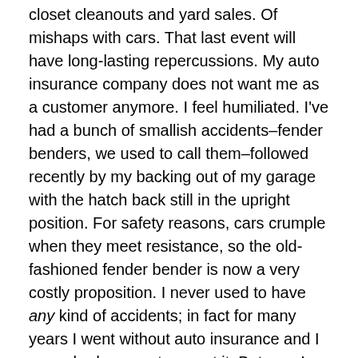closet cleanouts and yard sales.  Of mishaps with cars.  That last event will have long-lasting repercussions.  My auto insurance company does not want me as a customer anymore.  I feel humiliated.  I've had a bunch of smallish accidents–fender benders, we used to call them–followed recently by my backing out of my garage with the hatch back still in the upright position.  For safety reasons, cars crumple when they meet resistance, so the old-fashioned fender bender is now a very costly proposition.  I never used to have any kind of accidents; in fact for many years I went without auto insurance and I never had reason to regret it.  But now I am leasing a car and boy! that insurance coverage is a necessary resource.   I am now thinking I need to find a way to survive without the luxury of car ownership.  I won't have to decide  until June.

Last weekend Sharon Allen was my ride.  She took me